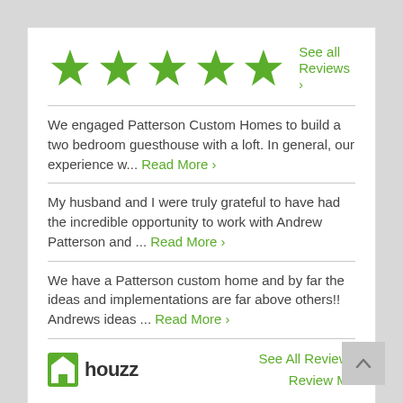[Figure (other): Five green stars rating with See all Reviews link]
We engaged Patterson Custom Homes to build a two bedroom guesthouse with a loft. In general, our experience w... Read More ›
My husband and I were truly grateful to have had the incredible opportunity to work with Andrew Patterson and ... Read More ›
We have a Patterson custom home and by far the ideas and implementations are far above others!! Andrews ideas ... Read More ›
[Figure (logo): Houzz logo with house icon and houzz text]
See All Reviews
Review Me